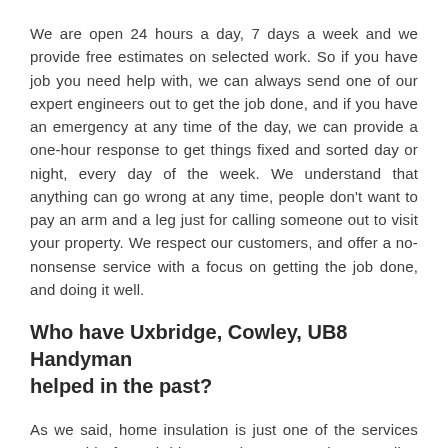We are open 24 hours a day, 7 days a week and we provide free estimates on selected work. So if you have job you need help with, we can always send one of our expert engineers out to get the job done, and if you have an emergency at any time of the day, we can provide a one-hour response to get things fixed and sorted day or night, every day of the week. We understand that anything can go wrong at any time, people don't want to pay an arm and a leg just for calling someone out to visit your property. We respect our customers, and offer a no-nonsense service with a focus on getting the job done, and doing it well.
Who have Uxbridge, Cowley, UB8 Handyman helped in the past?
As we said, home insulation is just one of the services we provide for Uxbridge, Cowley, UB8 and surrounding areas. Our past clients have included: